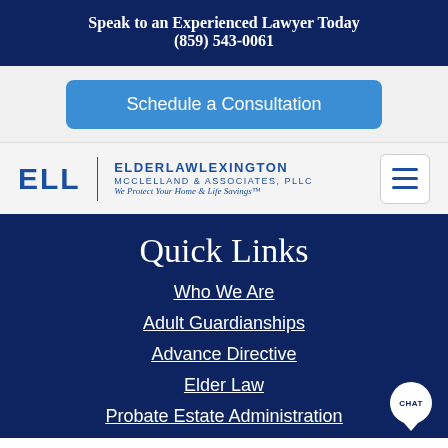Speak to an Experienced Lawyer Today
(859) 543-0061
Schedule a Consultation
[Figure (logo): ELL ElderLaw Lexington McClelland & Associates, PLLC logo with tagline 'We Protect Your Home & Life Savings']
Quick Links
Who We Are
Adult Guardianships
Advance Directive
Elder Law
Probate Estate Administration
Kentucky Adult Guardianship